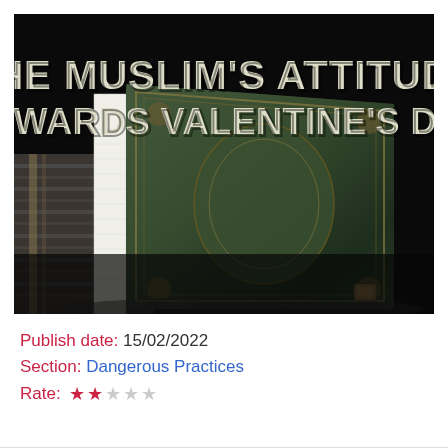[Figure (photo): Dark photograph of an ornate green and gold hardcover book (resembling a Quran) lying on a patterned fabric surface, with large white bold text overlaid reading 'THE MUSLIM'S ATTITUDE TOWARDS VALENTINE'S DAY']
Publish date: 15/02/2022
Section: Dangerous Practices
Rate: ★★☆☆☆